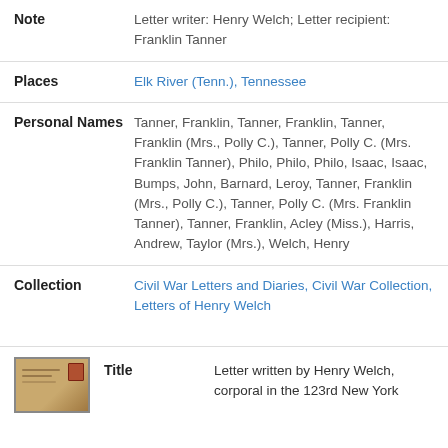Note: Letter writer: Henry Welch; Letter recipient: Franklin Tanner
Places: Elk River (Tenn.), Tennessee
Personal Names: Tanner, Franklin, Tanner, Franklin, Tanner, Franklin (Mrs., Polly C.), Tanner, Polly C. (Mrs. Franklin Tanner), Philo, Philo, Philo, Isaac, Isaac, Bumps, John, Barnard, Leroy, Tanner, Franklin (Mrs., Polly C.), Tanner, Polly C. (Mrs. Franklin Tanner), Tanner, Franklin, Acley (Miss.), Harris, Andrew, Taylor (Mrs.), Welch, Henry
Collection: Civil War Letters and Diaries, Civil War Collection, Letters of Henry Welch
Title: Letter written by Henry Welch, corporal in the 123rd New York